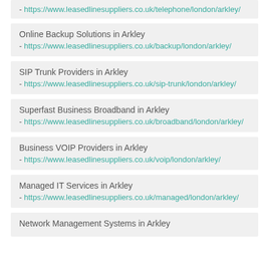- https://www.leasedlinesuppliers.co.uk/telephone/london/arkley/
Online Backup Solutions in Arkley
- https://www.leasedlinesuppliers.co.uk/backup/london/arkley/
SIP Trunk Providers in Arkley
- https://www.leasedlinesuppliers.co.uk/sip-trunk/london/arkley/
Superfast Business Broadband in Arkley
- https://www.leasedlinesuppliers.co.uk/broadband/london/arkley/
Business VOIP Providers in Arkley
- https://www.leasedlinesuppliers.co.uk/voip/london/arkley/
Managed IT Services in Arkley
- https://www.leasedlinesuppliers.co.uk/managed/london/arkley/
Network Management Systems in Arkley